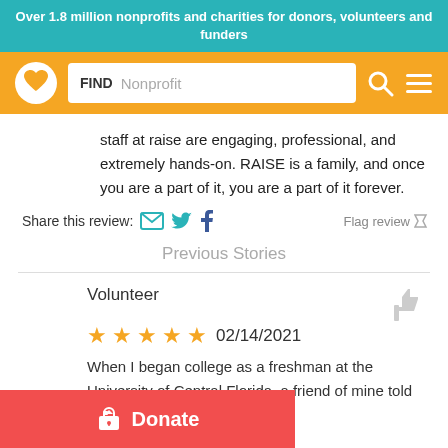Over 1.8 million nonprofits and charities for donors, volunteers and funders
[Figure (screenshot): Orange navigation bar with Goodsearch/Goodshop-style logo (circle with heart), a search box labeled FIND with placeholder Nonprofit, a search icon, and a hamburger menu icon]
staff at raise are engaging, professional, and extremely hands-on. RAISE is a family, and once you are a part of it, you are a part of it forever.
Share this review:  Flag review
Previous Stories
Volunteer
★★★★★ 02/14/2021
When I began college as a freshman at the University of Central Florida, a friend of mine told